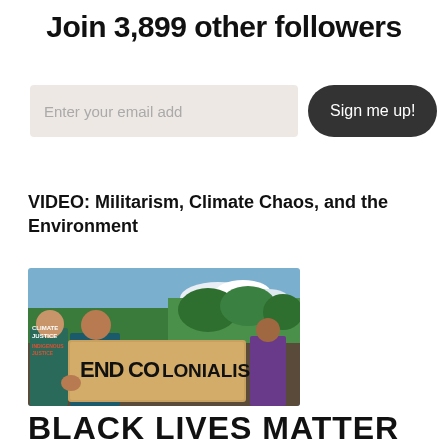Join 3,899 other followers
[Figure (other): Email signup form with text input placeholder 'Enter your email add' and a dark rounded button labeled 'Sign me up!']
VIDEO: Militarism, Climate Chaos, and the Environment
[Figure (photo): Photo of protesters at a rally holding a cardboard sign reading 'END COLONIALISM'. Protesters are in front of trees and a blue sky. Signs in background read 'CLIMATE JUSTICE' and 'INDIGENOUS JUSTICE'.]
BLACK LIVES MATTER